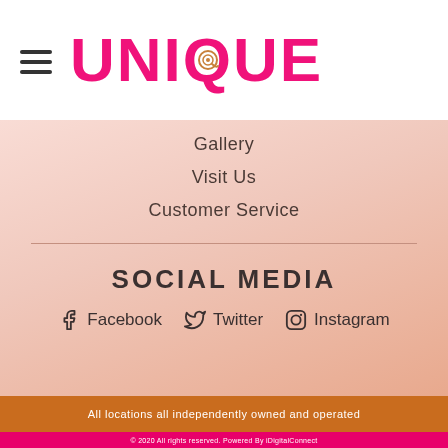[Figure (logo): UNIQUE logo in bold pink text with a spiral/rose icon inside the letter Q]
Gallery
Visit Us
Customer Service
SOCIAL MEDIA
Facebook
Twitter
Instagram
All locations all independently owned and operated
© 2020 All rights reserved. Powered By iDigitalConnect